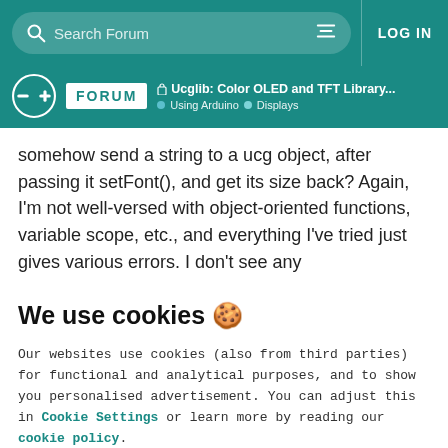Search Forum | LOG IN
FORUM | Ucglib: Color OLED and TFT Library... | Using Arduino | Displays
somehow send a string to a ucg object, after passing it setFont(), and get its size back? Again, I'm not well-versed with object-oriented functions, variable scope, etc., and everything I've tried just gives various errors. I don't see any
We use cookies 🍪
Our websites use cookies (also from third parties) for functional and analytical purposes, and to show you personalised advertisement. You can adjust this in Cookie Settings or learn more by reading our cookie policy.
ONLY REQUIRED | ACCEPT ALL